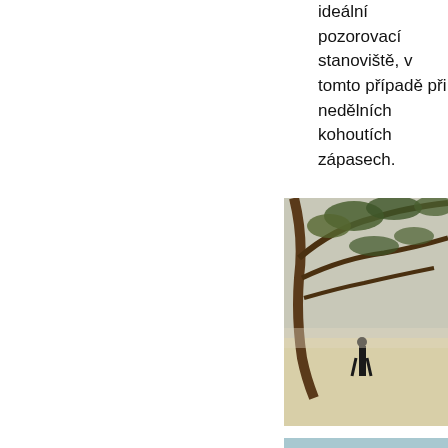ideální pozorovací stanoviště, v tomto případě při nedělních kohoutích zápasech.
[Figure (photo): Outdoor beach scene photographed through tree branches, showing a person standing on sandy beach, trees with gnarled branches in foreground]
[Figure (photo): Beach scene with blue sea in background, a boat or hammock visible, tree branches framing the top, white sand]
[Figure (photo): Partial view of a beach or forest scene, partially cut off at bottom of page]